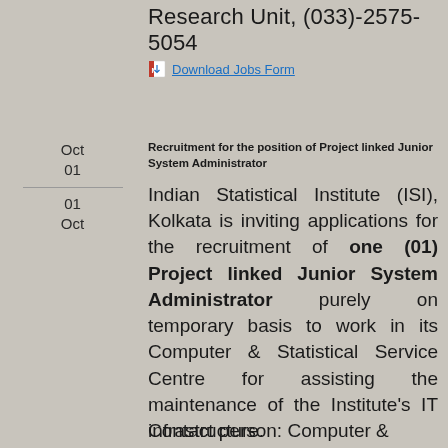Research Unit, (033)-2575-5054
Download Jobs Form
Oct
01
01
Oct
Recruitment for the position of Project linked Junior System Administrator
Indian Statistical Institute (ISI), Kolkata is inviting applications for the recruitment of one (01) Project linked Junior System Administrator purely on temporary basis to work in its Computer & Statistical Service Centre for assisting the maintenance of the Institute's IT infrastructure.
Contact person: Computer &